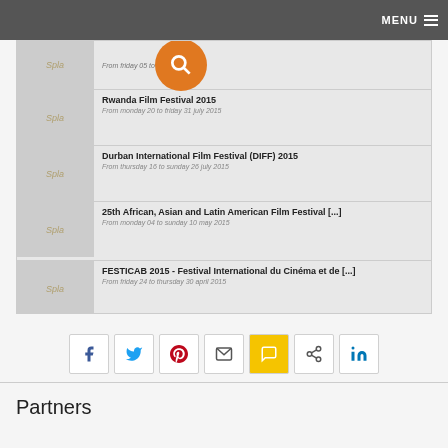MENU
From friday 05 to saturday [...]16
Rwanda Film Festival 2015
From monday 20 to friday 31 july 2015
Durban International Film Festival (DIFF) 2015
From thursday 16 to sunday 26 july 2015
25th African, Asian and Latin American Film Festival [...]
From monday 04 to sunday 10 may 2015
FESTICAB 2015 - Festival International du Cinéma et de [...]
From friday 24 to thursday 30 april 2015
[Figure (screenshot): Social sharing buttons: Facebook, Twitter, Pinterest, Email, SMS, Share, LinkedIn]
Partners